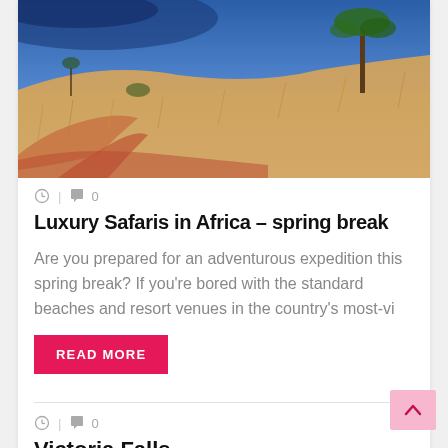[Figure (photo): African savanna landscape with dry golden grass, red dirt path, sparse trees, and blue sky]
🕐 | 💬 0
Luxury Safaris in Africa – spring break
Are you prepared for an adventurous expedition this spring break? If you're bored with the standard beaches and resort venues in the country's most-vi
READ MORE
🕐 | 💬 0
Victoria Falls